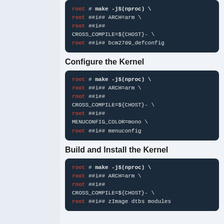root # make -j$(nproc) \
root ##i## ARCH=arm \
root ##i##
CROSS_COMPILE=${CHOST}- \
root ##i## bcm2709_defconfig
Configure the Kernel
root # make -j$(nproc) \
root ##i## ARCH=arm \
root ##i##
CROSS_COMPILE=${CHOST}- \
root ##i##
MENUCONFIG_COLOR=mono \
root ##i## menuconfig
Build and Install the Kernel
root # make -j$(nproc) \
root ##i## ARCH=arm \
root ##i##
CROSS_COMPILE=${CHOST}- \
root ##i## zImage dtbs modules